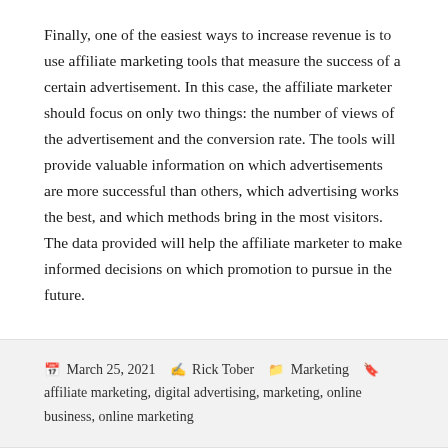Finally, one of the easiest ways to increase revenue is to use affiliate marketing tools that measure the success of a certain advertisement. In this case, the affiliate marketer should focus on only two things: the number of views of the advertisement and the conversion rate. The tools will provide valuable information on which advertisements are more successful than others, which advertising works the best, and which methods bring in the most visitors. The data provided will help the affiliate marketer to make informed decisions on which promotion to pursue in the future.
March 25, 2021   Rick Tober   Marketing   affiliate marketing, digital advertising, marketing, online business, online marketing